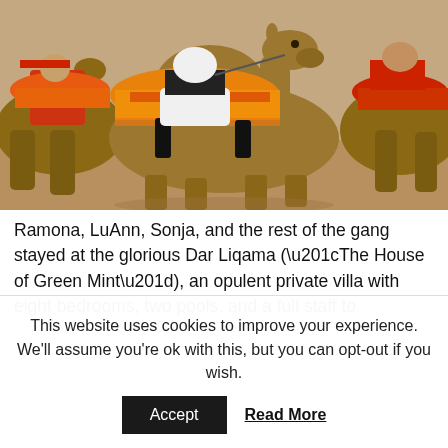[Figure (photo): A camel with a colorful orange and red saddle blanket being ridden by a person in black boots and white clothing, with another camel and rider partially visible on the left and right. Sandy desert ground visible below. People in traditional dress visible on the sides.]
Ramona, LuAnn, Sonja, and the rest of the gang stayed at the glorious Dar Liqama (“The House of Green Mint”), an opulent private villa with eight bedrooms, two pools, and a full staff to
This website uses cookies to improve your experience. We’ll assume you’re ok with this, but you can opt-out if you wish.